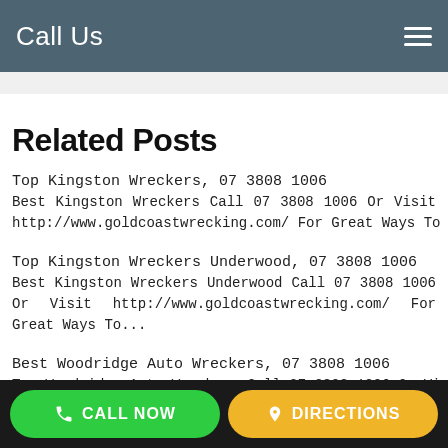Call Us
Related Posts
Top Kingston Wreckers, 07 3808 1006
Best Kingston Wreckers Call 07 3808 1006 Or Visit http://www.goldcoastwrecking.com/ For Great Ways To Find...
Top Kingston Wreckers Underwood, 07 3808 1006
Best Kingston Wreckers Underwood Call 07 3808 1006 Or Visit http://www.goldcoastwrecking.com/ For Great Ways To...
Best Woodridge Auto Wreckers, 07 3808 1006
Top Woodridge Auto Wreckers Call 07 3808 1006 Or Visit
CALL NOW   DIRECTIONS